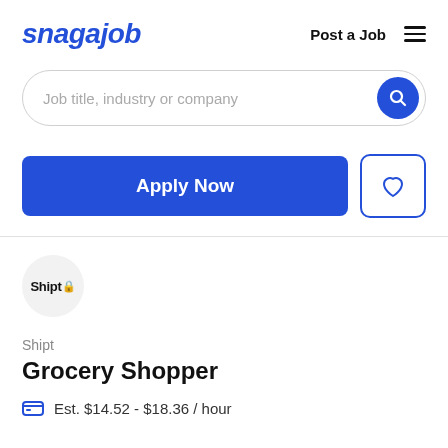snagajob | Post a Job
Job title, industry or company
Apply Now
[Figure (logo): Shipt company logo in a light grey circle with Shipt text and a green lock icon]
Shipt
Grocery Shopper
Est. $14.52 - $18.36 / hour